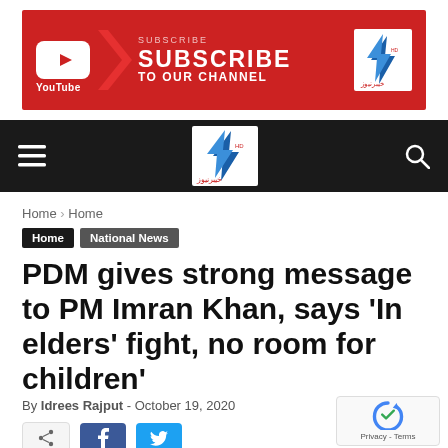[Figure (screenshot): YouTube Subscribe banner with red background, YouTube play button icon, chevron arrow, SUBSCRIBE TO OUR CHANNEL text, and Khyber News logo on the right]
[Figure (screenshot): Black navigation bar with hamburger menu icon on left, Khyber News HD logo in center, and search icon on right]
Home › Home
Home   National News
PDM gives strong message to PM Imran Khan, says 'In elders' fight, no room for children'
By Idrees Rajput - October 19, 2020
[Figure (screenshot): Social share buttons: share icon, Facebook (f) button, Twitter bird button]